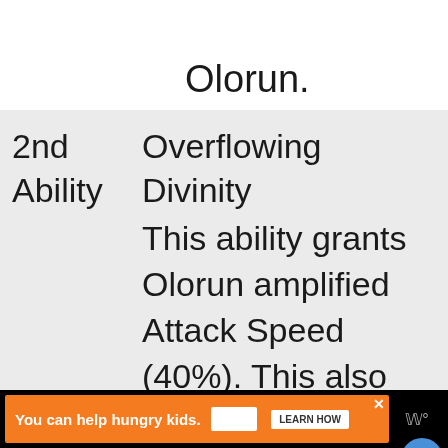Olorun.
|  |  |
| --- | --- |
| 2nd Ability | Overflowing Divinity
This ability grants Olorun amplified Attack Speed (40%). This also allows him to conjure the Sun which deals damage to nearby Enemies. The Sun also throws projectiles which can hit the enemy, every hi... |
[Figure (screenshot): Advertisement bar: orange ad reading 'You can help hungry kids.' with No Kid Hungry logo and LEARN HOW button, on black background]
You can help hungry kids.
NOKID HUNGRY
LEARN HOW